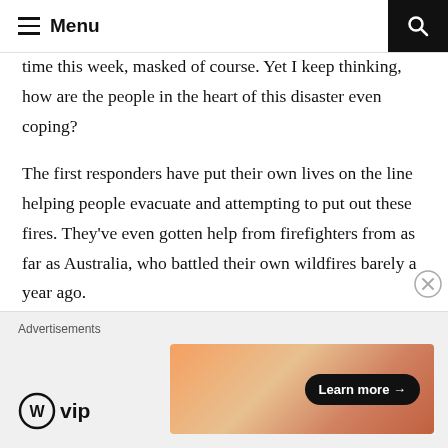Menu
time this week, masked of course. Yet I keep thinking, how are the people in the heart of this disaster even coping?
The first responders have put their own lives on the line helping people evacuate and attempting to put out these fires. They've even gotten help from firefighters from as far as Australia, who battled their own wildfires barely a year ago.
If you still deny that climate change is real, please educate yourself!
[Figure (other): WordPress VIP advertisement banner with Learn more button]